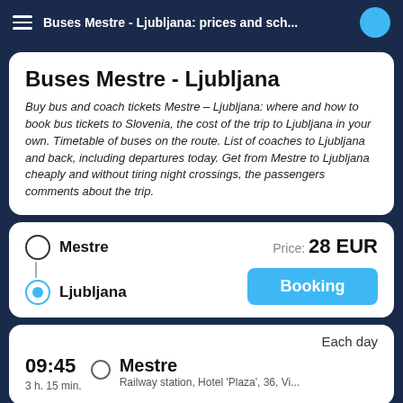Buses Mestre - Ljubljana: prices and sch...
Buses Mestre - Ljubljana
Buy bus and coach tickets Mestre – Ljubljana: where and how to book bus tickets to Slovenia, the cost of the trip to Ljubljana in your own. Timetable of buses on the route. List of coaches to Ljubljana and back, including departures today. Get from Mestre to Ljubljana cheaply and without tiring night crossings, the passengers comments about the trip.
Mestre | Price: 28 EUR | Ljubljana | Booking
Each day | 09:45 | Mestre | Railway station, Hotel 'Plaza', 36, Vi... | 3 h. 15 min.